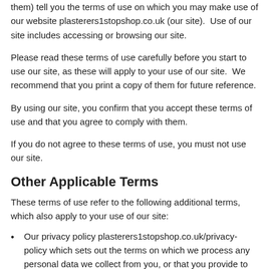them) tell you the terms of use on which you may make use of our website plasterers1stopshop.co.uk (our site).  Use of our site includes accessing or browsing our site.
Please read these terms of use carefully before you start to use our site, as these will apply to your use of our site.  We recommend that you print a copy of them for future reference.
By using our site, you confirm that you accept these terms of use and that you agree to comply with them.
If you do not agree to these terms of use, you must not use our site.
Other Applicable Terms
These terms of use refer to the following additional terms, which also apply to your use of our site:
Our privacy policy plasterers1stopshop.co.uk/privacy-policy which sets out the terms on which we process any personal data we collect from you, or that you provide to us.  By using